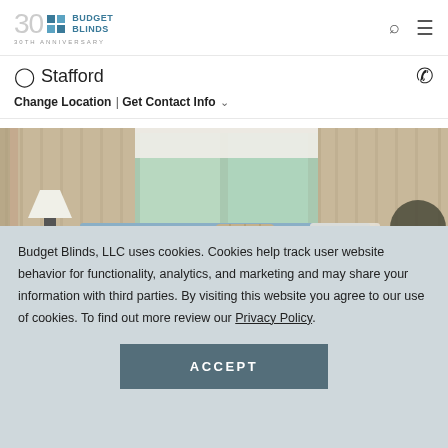Budget Blinds 30th Anniversary
Stafford
Change Location | Get Contact Info
[Figure (photo): Living room interior with beige curtains, white roller shades, a blue sofa with decorative pillows, a dark table lamp, and a potted tree in a basket]
Budget Blinds, LLC uses cookies. Cookies help track user website behavior for functionality, analytics, and marketing and may share your information with third parties. By visiting this website you agree to our use of cookies. To find out more review our Privacy Policy.
ACCEPT